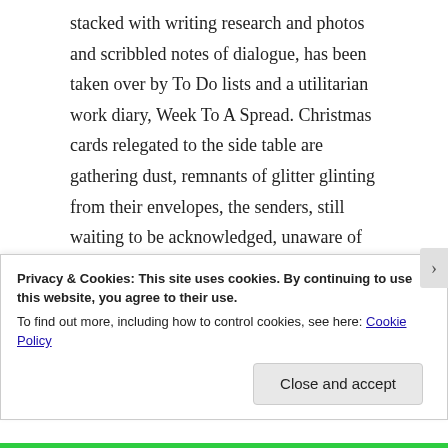stacked with writing research and photos and scribbled notes of dialogue, has been taken over by To Do lists and a utilitarian work diary, Week To A Spread. Christmas cards relegated to the side table are gathering dust, remnants of glitter glinting from their envelopes, the senders, still waiting to be acknowledged, unaware of how precious their greetings are to me. (I'm sorry. I'm sorry). A stack of novels waiting to be read occasionally glares at me from my bedside table; they've all but given up. I've
Privacy & Cookies: This site uses cookies. By continuing to use this website, you agree to their use.
To find out more, including how to control cookies, see here: Cookie Policy
Close and accept